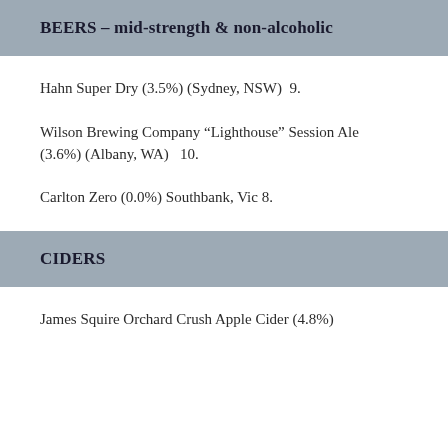BEERS – mid-strength & non-alcoholic
Hahn Super Dry (3.5%) (Sydney, NSW)  9.
Wilson Brewing Company “Lighthouse” Session Ale (3.6%) (Albany, WA)   10.
Carlton Zero (0.0%) Southbank, Vic 8.
CIDERS
James Squire Orchard Crush Apple Cider (4.8%)